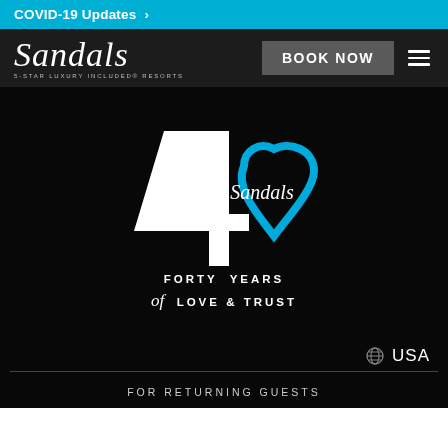COVID-19 Updates >
[Figure (logo): Sandals 5-Star Luxury Included Resorts logo in white script on dark background]
BOOK NOW
[Figure (logo): Sandals 40th Anniversary logo: large white '4' with blue heart shape, 'Sandals' script inside, text 'FORTY YEARS of LOVE & TRUST']
USA
FOR RETURNING GUESTS